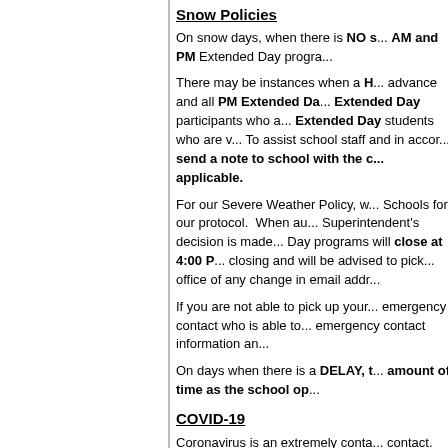Snow Policies
On snow days, when there is NO s... AM and PM Extended Day progra...
There may be instances when a H... advance and all PM Extended Da... Extended Day participants who a... Extended Day students who are v... To assist school staff and in accor... send a note to school with the c... applicable.
For our Severe Weather Policy, w... Schools for our protocol. When au... Superintendent's decision is made... Day programs will close at 4:00 P... closing and will be advised to pick... office of any change in email addr...
If you are not able to pick up your... emergency contact who is able to... emergency contact information an...
On days when there is a DELAY, t... amount of time as the school op...
COVID-19
Coronavirus is an extremely conta... contact. COVID-19 can lead to se...